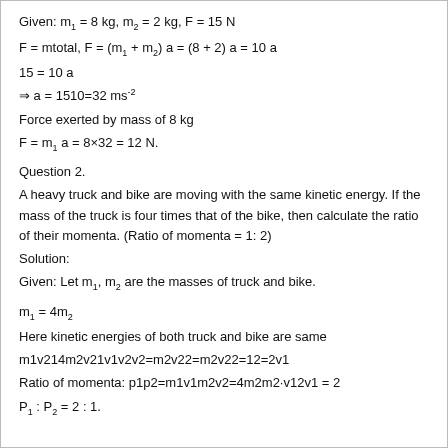Force exerted by mass of 8 kg
Question 2.
A heavy truck and bike are moving with the same kinetic energy. If the mass of the truck is four times that of the bike, then calculate the ratio of their momenta. (Ratio of momenta = 1 : 2)
Solution:
Given: Let m₁, m₂ are the masses of truck and bike.
Here kinetic energies of both truck and bike are same